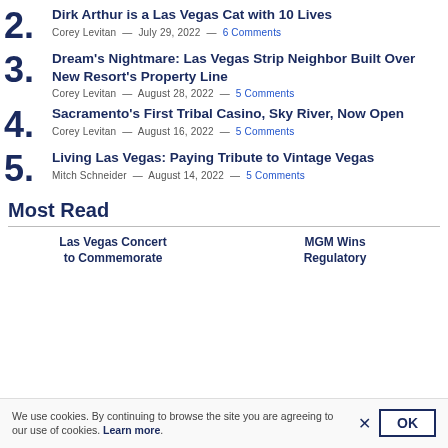2. Dirk Arthur is a Las Vegas Cat with 10 Lives — Corey Levitan — July 29, 2022 — 6 Comments
3. Dream's Nightmare: Las Vegas Strip Neighbor Built Over New Resort's Property Line — Corey Levitan — August 28, 2022 — 5 Comments
4. Sacramento's First Tribal Casino, Sky River, Now Open — Corey Levitan — August 16, 2022 — 5 Comments
5. Living Las Vegas: Paying Tribute to Vintage Vegas — Mitch Schneider — August 14, 2022 — 5 Comments
Most Read
Las Vegas Concert to Commemorate
MGM Wins Regulatory
We use cookies. By continuing to browse the site you are agreeing to our use of cookies. Learn more.